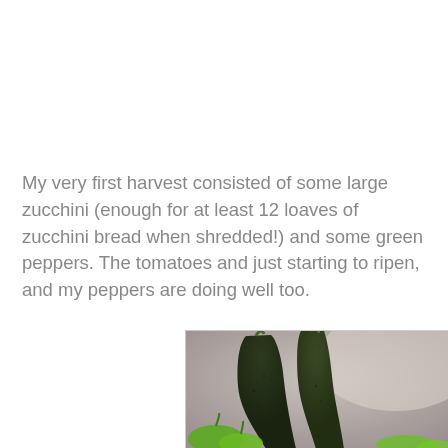My very first harvest consisted of some large zucchini (enough for at least 12 loaves of zucchini bread when shredded!) and some green peppers. The tomatoes and just starting to ripen, and my peppers are doing well too.
[Figure (photo): Close-up photograph of two large dark green zucchini and several bright green peppers arranged together against a light gray background.]